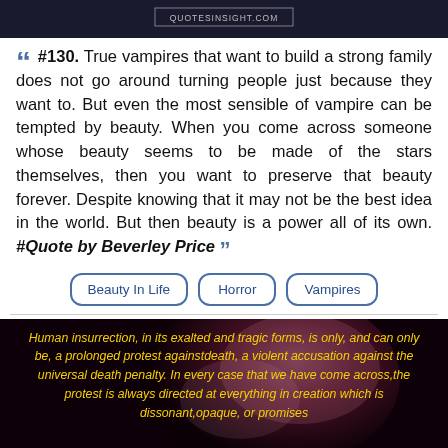[Figure (photo): Dark banner image with QUOTESINSIGHT.COM watermark text in a box]
““ #130. True vampires that want to build a strong family does not go around turning people just because they want to. But even the most sensible of vampire can be tempted by beauty. When you come across someone whose beauty seems to be made of the stars themselves, then you want to preserve that beauty forever. Despite knowing that it may not be the best idea in the world. But then beauty is a power all of its own. #Quote by Beverley Price ””
Beauty In Life
Horror
Vampires
[Figure (photo): Dark image with a pink rose and yellow italic text: Human insurrection, in its exalted and tragic forms, is only, and can only be, a prolonged protest againstdeath, a violent accusation against the universal death penalty. In every case that we have come across,the protest is always directed at everything in creation which is dissonant,opaque, or promises]